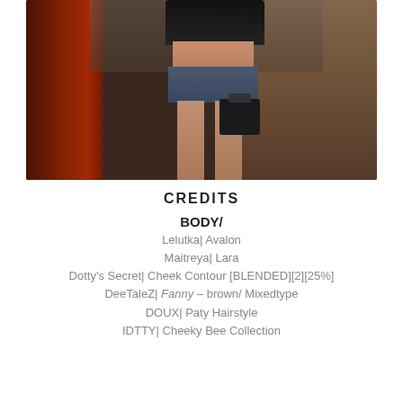[Figure (photo): A female avatar/character wearing a black crop top and denim shorts, holding a black handbag, standing in front of a building with red curtain on the left side. Urban background setting.]
CREDITS
BODY/
Lelutka| Avalon
Maitreya| Lara
Dotty's Secret| Cheek Contour [BLENDED][2][25%]
DeeTaleZ| Fanny – brown/ Mixedtype
DOUX| Paty Hairstyle
IDTTY| Cheeky Bee Collection